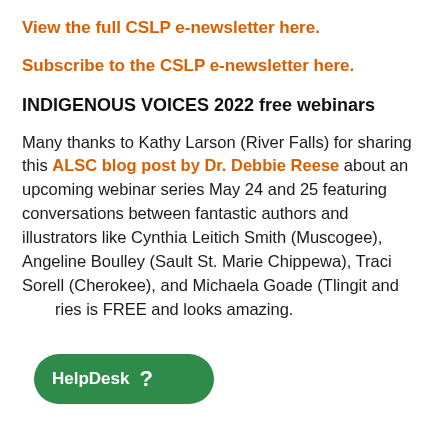View the full CSLP e-newsletter here.
Subscribe to the CSLP e-newsletter here.
INDIGENOUS VOICES 2022 free webinars
Many thanks to Kathy Larson (River Falls) for sharing this ALSC blog post by Dr. Debbie Reese about an upcoming webinar series May 24 and 25 featuring conversations between fantastic authors and illustrators like Cynthia Leitich Smith (Muscogee), Angeline Boulley (Sault St. Marie Chippewa), Traci Sorell (Cherokee), and Michaela Goade (Tlingit and …ries is FREE and looks amazing.
[Figure (other): Green HelpDesk button with question mark in lower left corner]